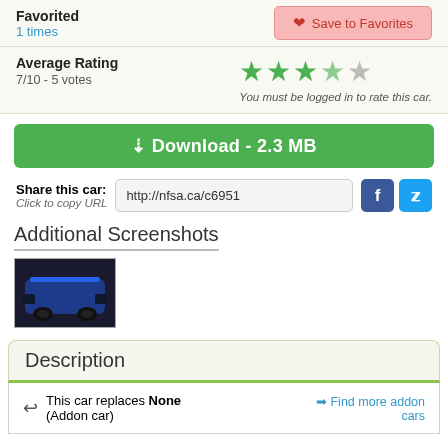Favorited
1 times
Save to Favorites
Average Rating
7/10 - 5 votes
You must be logged in to rate this car.
Download - 2.3 MB
Share this car:
Click to copy URL
http://nfsa.ca/c6951
Additional Screenshots
[Figure (photo): Thumbnail screenshot of a dark blue car]
Description
This car replaces None (Addon car)
Find more addon cars